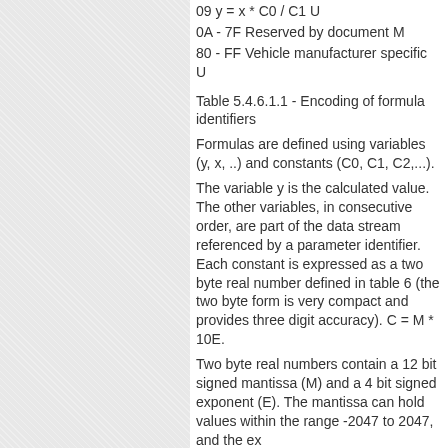09 y = x * C0 / C1 U
0A - 7F Reserved by document M
80 - FF Vehicle manufacturer specific U
Table 5.4.6.1.1 - Encoding of formula identifiers
Formulas are defined using variables (y, x, ..) and constants (C0, C1, C2,...).
The variable y is the calculated value. The other variables, in consecutive order, are part of the data stream referenced by a parameter identifier. Each constant is expressed as a two byte real number defined in table 6 (the two byte form is very compact and provides three digit accuracy). C = M * 10E.
Two byte real numbers contain a 12 bit signed mantissa (M) and a 4 bit signed exponent (E). The mantissa can hold values within the range -2047 to 2047, and the ex...